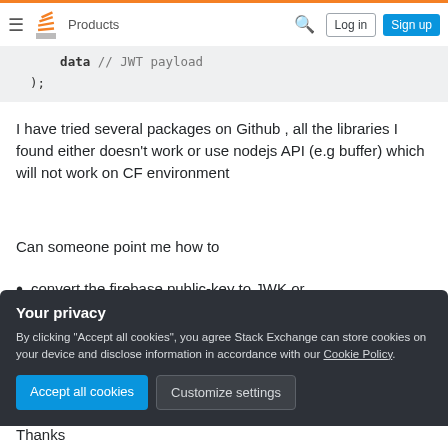≡  [Stack Overflow logo]  Products  [search icon]  Log in  Sign up
data // JWT payload
);
I have tried several packages on Github , all the libraries I found either doesn't work or use nodejs API (e.g buffer) which will not work on CF environment
Can someone point me how to
convert the firebase public-key to JWK or
Your privacy
By clicking "Accept all cookies", you agree Stack Exchange can store cookies on your device and disclose information in accordance with our Cookie Policy.
Accept all cookies  Customize settings
Thanks